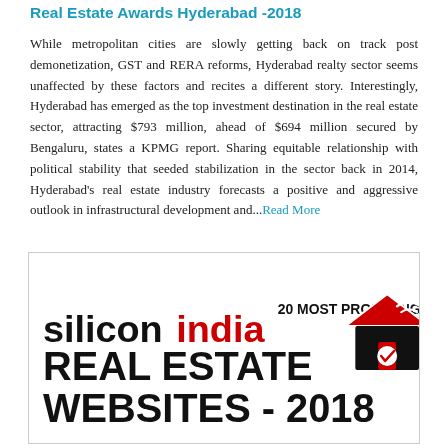Real Estate Awards Hyderabad -2018
While metropolitan cities are slowly getting back on track post demonetization, GST and RERA reforms, Hyderabad realty sector seems unaffected by these factors and recites a different story. Interestingly, Hyderabad has emerged as the top investment destination in the real estate sector, attracting $793 million, ahead of $694 million secured by Bengaluru, states a KPMG report. Sharing equitable relationship with political stability that seeded stabilization in the sector back in 2014, Hyderabad's real estate industry forecasts a positive and aggressive outlook in infrastructural development and...Read More
[Figure (logo): Silicon India 20 Most Promising Real Estate Websites - 2018 logo with house icon]